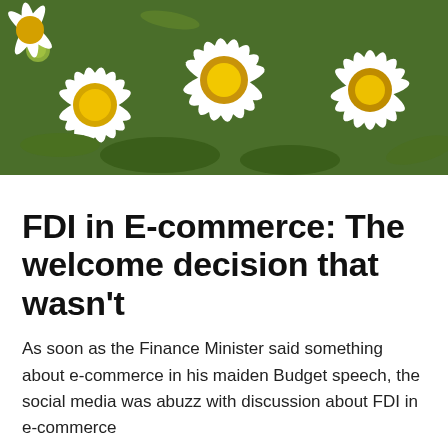[Figure (photo): Close-up photo of white and yellow daisy flowers with green foliage background]
FDI in E-commerce: The welcome decision that wasn't
As soon as the Finance Minister said something about e-commerce in his maiden Budget speech, the social media was abuzz with discussion about FDI in e-commerce
Privacy & Cookies: This site uses cookies. By continuing to use this website, you agree to their use.
To find out more, including how to control cookies, see here: Cookie Policy
Close and accept
#Budget'14: e-commerce to be promoted; no approval